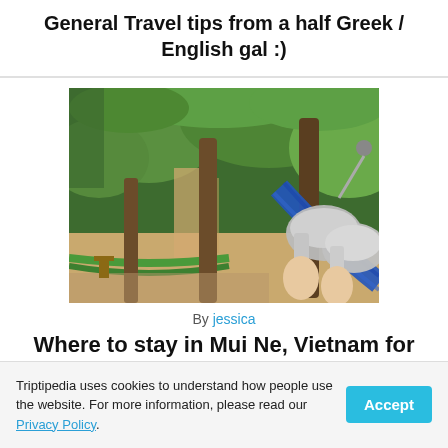General Travel tips from a half Greek / English gal :)
[Figure (photo): Person lying in a blue hammock among palm trees on a sandy beach area, viewed from first person perspective showing their feet in grey sneakers]
By jessica
Where to stay in Mui Ne, Vietnam for $16 a day
Triptipedia uses cookies to understand how people use the website. For more information, please read our Privacy Policy.